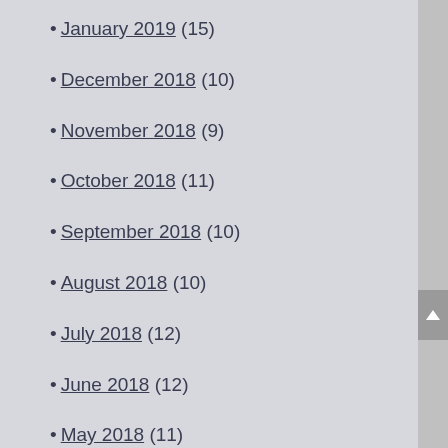January 2019 (15)
December 2018 (10)
November 2018 (9)
October 2018 (11)
September 2018 (10)
August 2018 (10)
July 2018 (12)
June 2018 (12)
May 2018 (11)